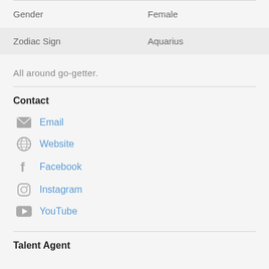| Gender | Female |
| Zodiac Sign | Aquarius |
All around go-getter.
Contact
Email
Website
Facebook
Instagram
YouTube
Talent Agent